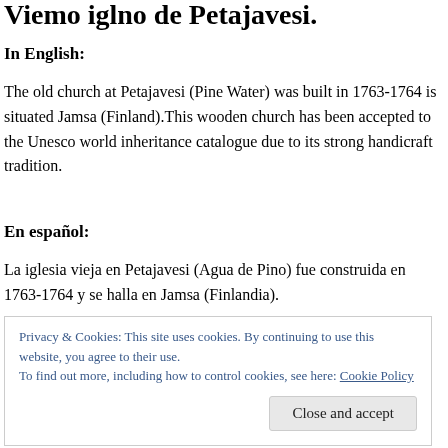Viemo iglno de Petajavesi.
In English:
The old church at Petajavesi (Pine Water) was built in 1763-1764 is situated Jamsa (Finland).This wooden church has been accepted to the Unesco world inheritance catalogue due to its strong handicraft tradition.
En español:
La iglesia vieja en Petajavesi (Agua de Pino) fue construida en 1763-1764 y se halla en Jamsa (Finlandia).
Privacy & Cookies: This site uses cookies. By continuing to use this website, you agree to their use.
To find out more, including how to control cookies, see here: Cookie Policy